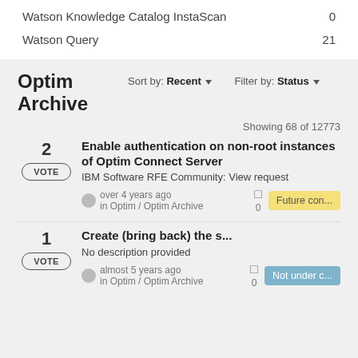Watson Knowledge Catalog InstaScan	0
Watson Query	21
Optim Archive
Sort by: Recent ▾   Filter by: Status ▾
Showing 68 of 12773
2
VOTE
Enable authentication on non-root instances of Optim Connect Server
IBM Software RFE Community: View request
over 4 years ago
in Optim / Optim Archive
0
Future con...
1
VOTE
Create (bring back) the s...
No description provided
almost 5 years ago
in Optim / Optim Archive
0
Not under c...